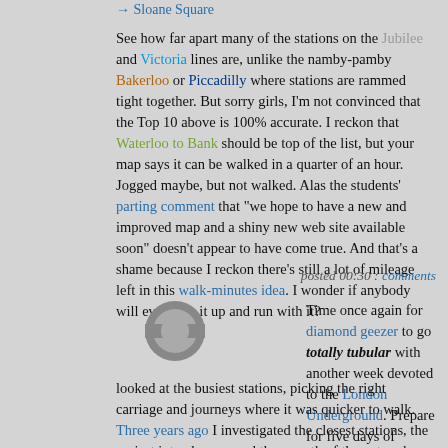→ Sloane Square
See how far apart many of the stations on the Jubilee and Victoria lines are, unlike the namby-pamby Bakerloo or Piccadilly where stations are rammed tight together. But sorry girls, I'm not convinced that the Top 10 above is 100% accurate. I reckon that Waterloo to Bank should be top of the list, but your map says it can be walked in a quarter of an hour. Jogged maybe, but not walked. Alas the students' parting comment that "we hope to have a new and improved map and a shiny new web site available soon" doesn't appear to have come true. And that's a shame because I reckon there's still a lot of mileage left in this walk-minutes idea. I wonder if anybody will ever pick it up and run with it?
posted 00:30 : comments
Time once again for diamond geezer to go totally tubular with another week devoted to the London Underground. Prepare for five days of quizzes, quirks, commentary and obscure statistics. Four years ago I looked at the busiest stations, picking the right carriage and journeys where it was quicker to walk. Three years ago I investigated the closest stations, the easiest interchanges and the growth of the network. Two years ago I discussed overcrowding, ticket barrier codes and precisely where the underground is underground. And last year I wrote about accessibility, delays and why people never move down the platform. Amongst other things. I hope there's still